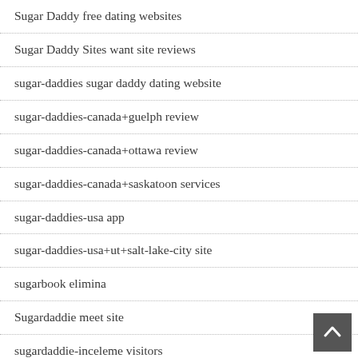Sugar Daddy free dating websites
Sugar Daddy Sites want site reviews
sugar-daddies sugar daddy dating website
sugar-daddies-canada+guelph review
sugar-daddies-canada+ottawa review
sugar-daddies-canada+saskatoon services
sugar-daddies-usa app
sugar-daddies-usa+ut+salt-lake-city site
sugarbook elimina
Sugardaddie meet site
sugardaddie-inceleme visitors
SugarDaddyForMe review
sugardaddyforme-inceleme kayı̈t olmak